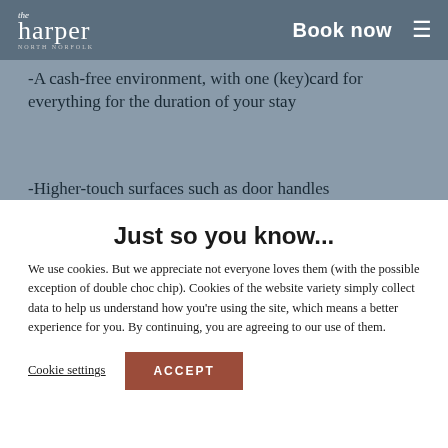the harper NORTH NORFOLK | Book now
-Single use menus, if you prefer yours on the per
-A cash-free environment, with one (key)card for everything for the duration of your stay
-Higher-touch surfaces such as door handles
Just so you know...
We use cookies. But we appreciate not everyone loves them (with the possible exception of double choc chip). Cookies of the website variety simply collect data to help us understand how you’re using the site, which means a better experience for you. By continuing, you are agreeing to our use of them.
Cookie settings
ACCEPT